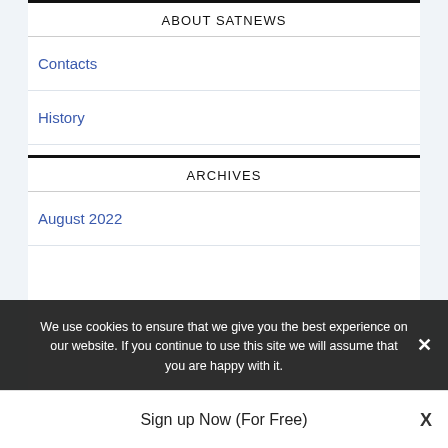ABOUT SATNEWS
Contacts
History
ARCHIVES
August 2022
We use cookies to ensure that we give you the best experience on our website. If you continue to use this site we will assume that you are happy with it.
Sign up Now (For Free)